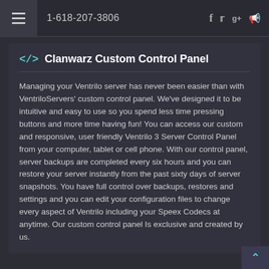1-618-207-3806
Clanwarz Custom Control Panel
Managing your Ventrilo server has never been easier than with VentriloServers' custom control panel. We've designed it to be intuitive and easy to use so you spend less time pressing buttons and more time having fun! You can access our custom and responsive, user friendly Ventrilo 3 Server Control Panel from your computer, tablet or cell phone. With our control panel, server backups are completed every six hours and you can restore your server instantly from the past sixty days of server snapshots. You have full control over backups, restores and settings and you can edit your configuration files to change every aspect of Ventrilo including your Speex Codecs at anytime. Our custom control panel Is exclusive and created by us.